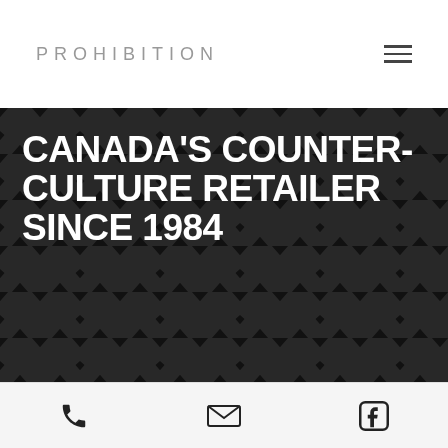PROHIBITION
CANADA'S COUNTER-CULTURE RETAILER SINCE 1984
PROHIBITION began as a modest stand in a Montreal flea market. Since then, we have grown to 25+ retail locations across Canada.
PROHIBITION has become a symbol of quality and innovation in the space, without ever losing sight of our humble beginnings.
[Figure (photo): Interior photo of a retail store showing shelving, display items, and store fixtures]
Phone | Email | Facebook icons